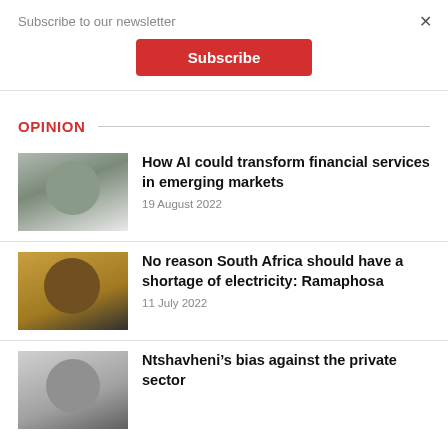Subscribe to our newsletter
Subscribe
OPINION
[Figure (photo): Headshot of a man smiling, grey background]
How AI could transform financial services in emerging markets
19 August 2022
[Figure (photo): Headshot of a man in suit with blue tie, yellow background]
No reason South Africa should have a shortage of electricity: Ramaphosa
11 July 2022
[Figure (photo): Headshot of a man wearing a hat and glasses, grey background]
Ntshavheni’s bias against the private sector